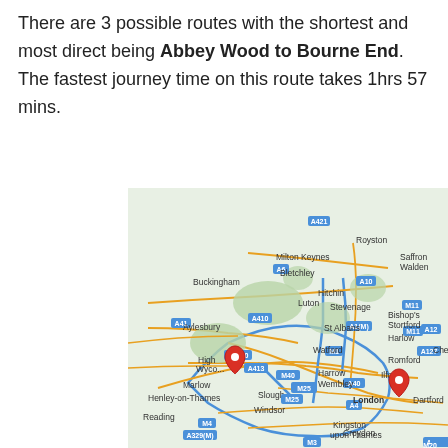There are 3 possible routes with the shortest and most direct being Abbey Wood to Bourne End. The fastest journey time on this route takes 1hrs 57 mins.
[Figure (map): Google Maps showing a road map of South East England from Reading/Aylesbury in the west to London/Romford/Dartford in the east, with Luton and Milton Keynes in the north. Two red pin markers are placed: one near High Wycombe/Marlow area and one near Ilford/East London area.]